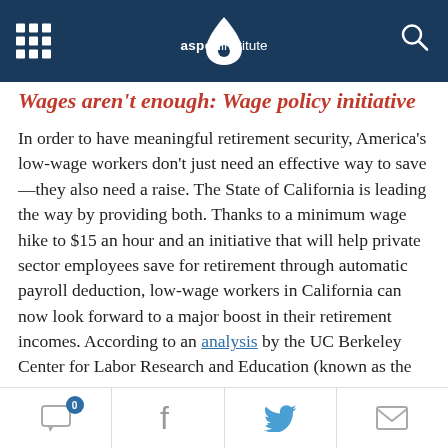Aspen Institute
Wages aren't enough: Wage policy initiative
In order to have meaningful retirement security, America's low-wage workers don't just need an effective way to save—they also need a raise. The State of California is leading the way by providing both. Thanks to a minimum wage hike to $15 an hour and an initiative that will help private sector employees save for retirement through automatic payroll deduction, low-wage workers in California can now look forward to a major boost in their retirement incomes. According to an analysis by the UC Berkeley Center for Labor Research and Education (known as the Labor Center), these combined policies will give retirement income...
0 comments | Facebook | Twitter | Email